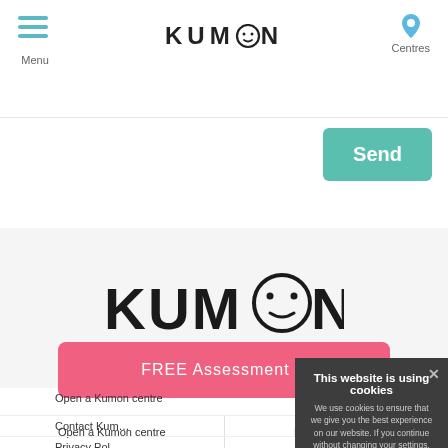Menu | KUMON | Centres
Send
[Figure (logo): Kumon logo — large black text with smiley face character in the O]
FREE Assessment >
Open a Kumon centre
History of Kumon
Contact Kumon
Privacy Policy
Terms of Use
Site Map
This website is using cookies
We use cookies to ensure that we give you the best experience on our website. If you continue without changing your settings, we'll assume that you are happy to receive all cookies on this website.
Continue    Learn more